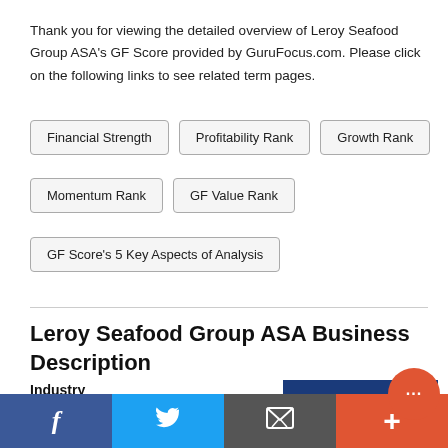Thank you for viewing the detailed overview of Leroy Seafood Group ASA's GF Score provided by GuruFocus.com. Please click on the following links to see related term pages.
Financial Strength
Profitability Rank
Growth Rank
Momentum Rank
GF Value Rank
GF Score's 5 Key Aspects of Analysis
Leroy Seafood Group ASA Business Description
Industry
GURUFOCUS.COM » STOCK LIST » Consumer Defensive » Consumer Packaged Goods » Leroy Seafood Group
[Figure (logo): Leroy Seafood Group ASA logo — blue background with white LERØY text and swoosh graphic]